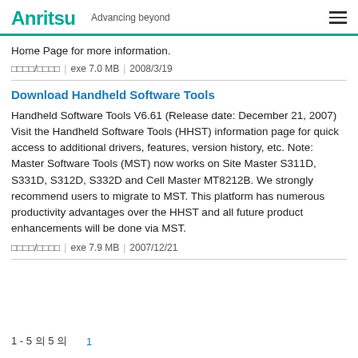Anritsu — Advancing beyond
Home Page for more information.
□□□□/□□□□ | exe 7.0 MB | 2008/3/19
Download Handheld Software Tools
Handheld Software Tools V6.61 (Release date: December 21, 2007) Visit the Handheld Software Tools (HHST) information page for quick access to additional drivers, features, version history, etc. Note: Master Software Tools (MST) now works on Site Master S311D, S331D, S312D, S332D and Cell Master MT8212B. We strongly recommend users to migrate to MST. This platform has numerous productivity advantages over the HHST and all future product enhancements will be done via MST.
□□□□/□□□□ | exe 7.9 MB | 2007/12/21
1 - 5 의 5 의  1